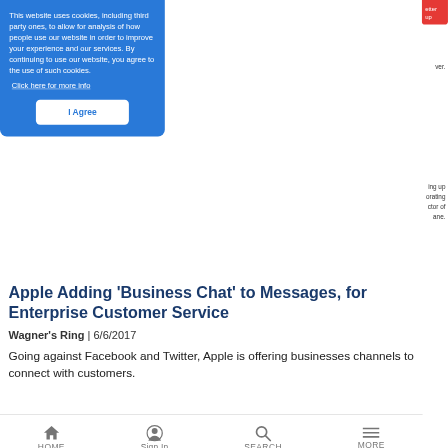[Figure (screenshot): Cookie consent overlay on a website. Blue background box with white text saying: 'This website uses cookies, including third party ones, to allow for analysis of how people use our website in order to improve your experience and our services. By continuing to use our website, you agree to the use of such cookies.' with a 'Click here for more info' link and an 'I Agree' button. A red box partially visible in top right corner with text 'etter up'.]
Apple Adding 'Business Chat' to Messages, for Enterprise Customer Service
Wagner's Ring | 6/6/2017
Going against Facebook and Twitter, Apple is offering businesses channels to connect with customers.
HOME | Sign In | SEARCH | MORE